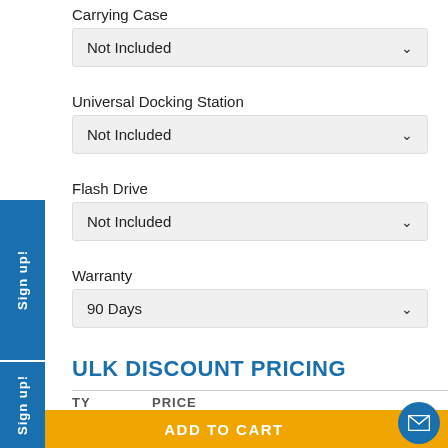Carrying Case
Not Included
Universal Docking Station
Not Included
Flash Drive
Not Included
Warranty
90 Days
BULK DISCOUNT PRICING
QTY   PRICE
ADD TO CART